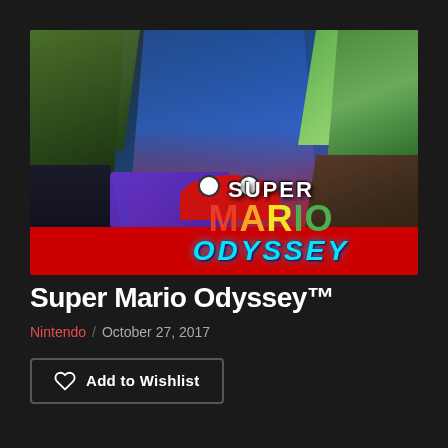[Figure (illustration): Super Mario Odyssey game cover art collage showing Mario character, Cappy hat, New Donk City with purple bus, jungle scenes, colorful worlds, and the Super Mario Odyssey logo with red background strip at bottom]
Super Mario Odyssey™
Nintendo / October 27, 2017
Add to Wishlist